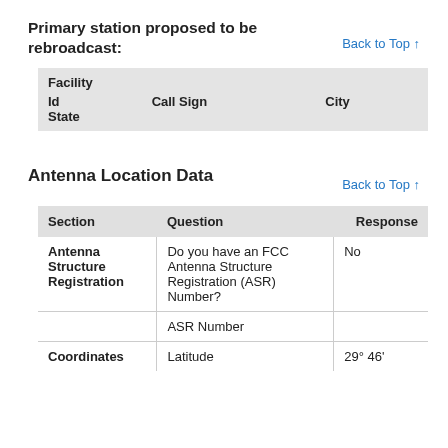Primary station proposed to be rebroadcast:
Back to Top ↑
| Facility Id | Call Sign | City | State |
| --- | --- | --- | --- |
Antenna Location Data
Back to Top ↑
| Section | Question | Response |
| --- | --- | --- |
| Antenna Structure Registration | Do you have an FCC Antenna Structure Registration (ASR) Number? | No |
|  | ASR Number |  |
| Coordinates | Latitude | 29° 46' |